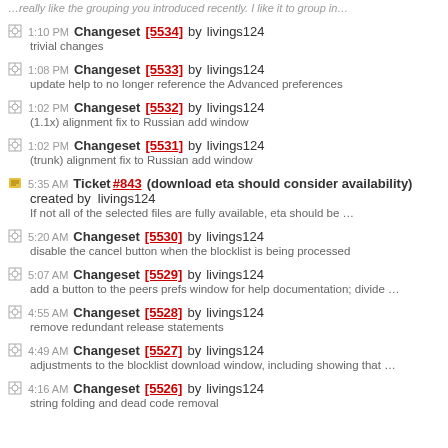…really like the grouping you introduced recently. I like it to group in…
1:10 PM Changeset [5534] by livings124 — trivial changes
1:08 PM Changeset [5533] by livings124 — update help to no longer reference the Advanced preferences
1:02 PM Changeset [5532] by livings124 — (1.1x) alignment fix to Russian add window
1:02 PM Changeset [5531] by livings124 — (trunk) alignment fix to Russian add window
5:35 AM Ticket #843 (download eta should consider availability) created by livings124 — If not all of the selected files are fully available, eta should be …
5:20 AM Changeset [5530] by livings124 — disable the cancel button when the blocklist is being processed
5:07 AM Changeset [5529] by livings124 — add a button to the peers prefs window for help documentation; divide …
4:55 AM Changeset [5528] by livings124 — remove redundant release statements
4:49 AM Changeset [5527] by livings124 — adjustments to the blocklist download window, including showing that …
4:16 AM Changeset [5526] by livings124 — string folding and dead code removal